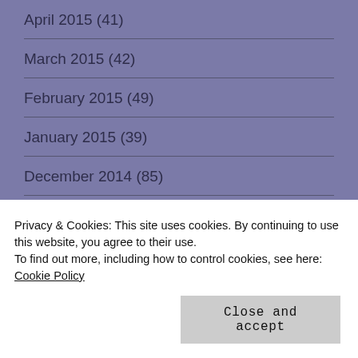April 2015 (41)
March 2015 (42)
February 2015 (49)
January 2015 (39)
December 2014 (85)
November 2014 (40)
October 2014 (45)
September 2014 (39)
August 2014 (46)
Privacy & Cookies: This site uses cookies. By continuing to use this website, you agree to their use.
To find out more, including how to control cookies, see here: Cookie Policy
April 2014 (48)